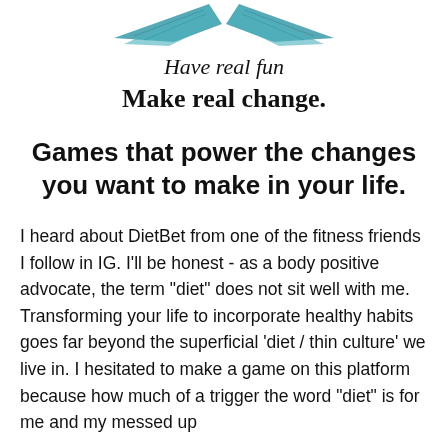[Figure (illustration): Decorative teal/turquoise ribbon or banner graphic at the top of the page]
Have real fun
Make real change.
Games that power the changes you want to make in your life.
I heard about DietBet from one of the fitness friends I follow in IG. I'll be honest - as a body positive advocate, the term "diet" does not sit well with me. Transforming your life to incorporate healthy habits goes far beyond the superficial 'diet / thin culture' we live in. I hesitated to make a game on this platform because how much of a trigger the word "diet" is for me and my messed up